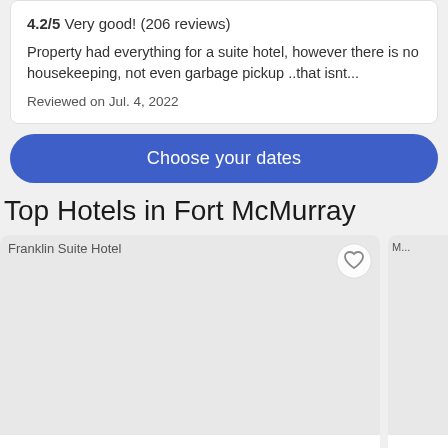4.2/5 Very good! (206 reviews)
Property had everything for a suite hotel, however there is no housekeeping, not even garbage pickup ..that isnt...
Reviewed on Jul. 4, 2022
Choose your dates
Top Hotels in Fort McMurray
[Figure (screenshot): Hotel listing card for Franklin Suite Hotel with a large image placeholder, heart/favorite icon, hotel name, star rating, and partially visible second hotel card to the right showing 'M...' text.]